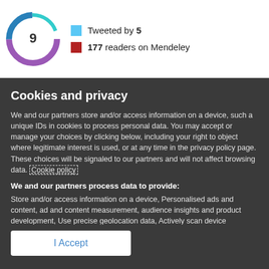[Figure (infographic): Altmetric donut badge showing score of 9, with teal and purple ring segments]
Tweeted by 5
177 readers on Mendeley
Cookies and privacy
We and our partners store and/or access information on a device, such a unique IDs in cookies to process personal data. You may accept or manage your choices by clicking below, including your right to object where legitimate interest is used, or at any time in the privacy policy page. These choices will be signaled to our partners and will not affect browsing data. Cookie policy
We and our partners process data to provide:
Store and/or access information on a device, Personalised ads and content, ad and content measurement, audience insights and product development, Use precise geolocation data, Actively scan device characteristics for identification
List of Partners (vendors)
I Accept